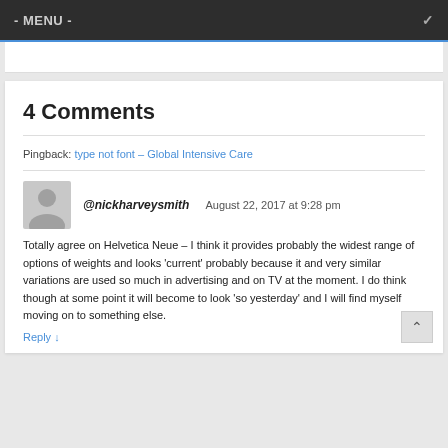- MENU -
4 Comments
Pingback: type not font – Global Intensive Care
@nickharveysmith  August 22, 2017 at 9:28 pm
Totally agree on Helvetica Neue – I think it provides probably the widest range of options of weights and looks 'current' probably because it and very similar variations are used so much in advertising and on TV at the moment. I do think though at some point it will become to look 'so yesterday' and I will find myself moving on to something else.
Reply ↓